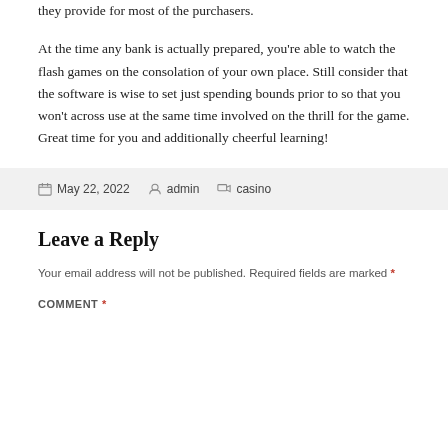they provide for most of the purchasers.
At the time any bank is actually prepared, you're able to watch the flash games on the consolation of your own place. Still consider that the software is wise to set just spending bounds prior to so that you won't across use at the same time involved on the thrill for the game. Great time for you and additionally cheerful learning!
May 22, 2022   admin   casino
Leave a Reply
Your email address will not be published. Required fields are marked *
COMMENT *